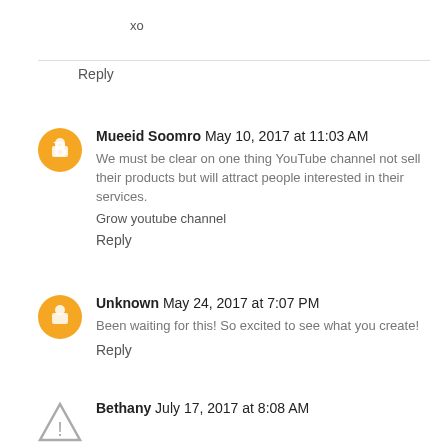xo
Reply
Mueeid Soomro  May 10, 2017 at 11:03 AM
We must be clear on one thing YouTube channel not sell their products but will attract people interested in their services.
Grow youtube channel
Reply
Unknown  May 24, 2017 at 7:07 PM
Been waiting for this! So excited to see what you create!
Reply
Bethany  July 17, 2017 at 8:08 AM